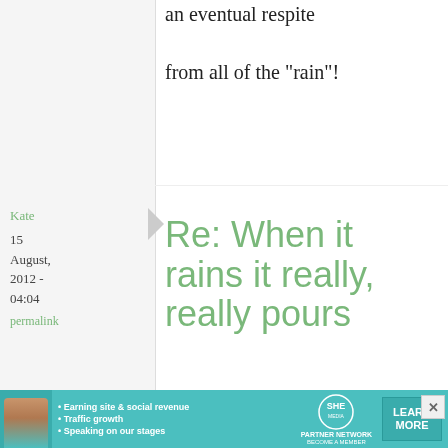an eventual respite from all of the "rain"!
Kate
15 August, 2012 - 04:04
permalink
Re: When it rains it really, really pours
Maki,
I've been following your blog for a couple years, but I've never
[Figure (infographic): SHE Partner Network advertisement banner with photo of woman, bullet points: Earning site & social revenue, Traffic growth, Speaking on our stages, and a LEARN MORE button]